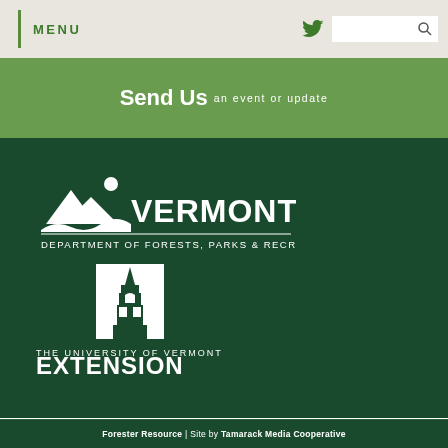MENU
Send Us an event or update
[Figure (logo): Vermont Department of Forests, Parks & Recreation logo — mountain silhouette with state name and department text]
[Figure (logo): The University of Vermont Extension logo — church/tower illustration with university name and EXTENSION text]
Forester Resource | Site by Tamarack Media Cooperative